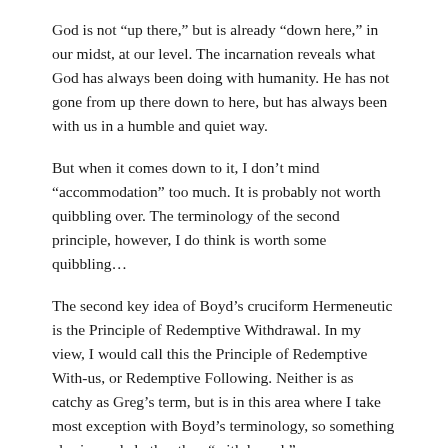God is not “up there,” but is already “down here,” in our midst, at our level. The incarnation reveals what God has always been doing with humanity. He has not gone from up there down to here, but has always been with us in a humble and quiet way.
But when it comes down to it, I don’t mind “accommodation” too much. It is probably not worth quibbling over. The terminology of the second principle, however, I do think is worth some quibbling…
The second key idea of Boyd’s cruciform Hermeneutic is the Principle of Redemptive Withdrawal. In my view, I would call this the Principle of Redemptive With-us, or Redemptive Following. Neither is as catchy as Greg’s term, but is in this area where I take most exception with Boyd’s terminology, so something else is needed other than “withdrawal.”
Boyd frequently writes that God withdraws from us, and he uses numerous synonyms to help explain this view. He writes that God abandons (p. 769, 778, 782), leaves us alone (p.741, 874),